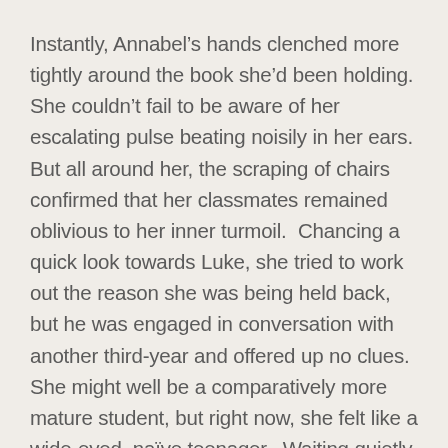Instantly, Annabel's hands clenched more tightly around the book she'd been holding.  She couldn't fail to be aware of her escalating pulse beating noisily in her ears.  But all around her, the scraping of chairs confirmed that her classmates remained oblivious to her inner turmoil.  Chancing a quick look towards Luke, she tried to work out the reason she was being held back, but he was engaged in conversation with another third-year and offered up no clues.  She might well be a comparatively more mature student, but right now, she felt like a wide-eyed, naïve teenager.  Waiting quietly until the rest of the class had cleared the room, the door slamming shut behind them, she took a deep breath in an attempt to steady herself.  They were alone at last.